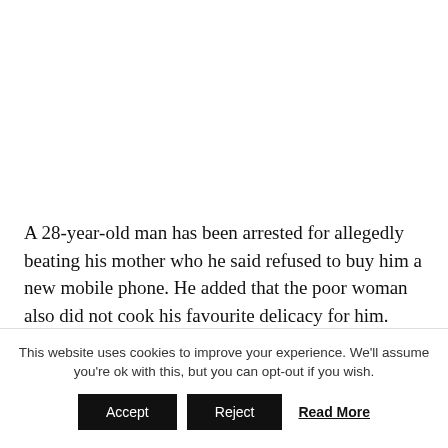A 28-year-old man has been arrested for allegedly beating his mother who he said refused to buy him a new mobile phone. He added that the poor woman also did not cook his favourite delicacy for him.
The Kenyan man, Alphonce Onyango, facing charges of assault in Umoia Estate. was also said to have demanded
This website uses cookies to improve your experience. We'll assume you're ok with this, but you can opt-out if you wish.